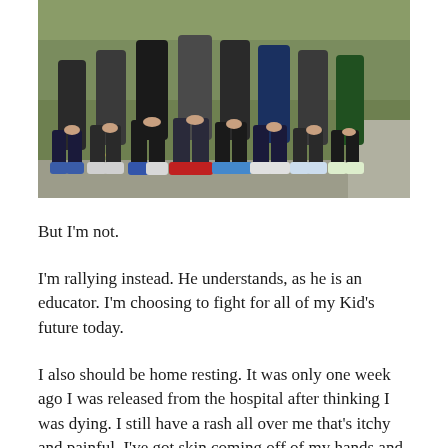[Figure (photo): Group of people standing close together outdoors on grass and pavement, wearing athletic/casual clothing and running shoes, photographed from roughly chest-height down showing legs and feet.]
But I'm not.
I'm rallying instead. He understands, as he is an educator. I'm choosing to fight for all of my Kid's future today.
I also should be home resting. It was only one week ago I was released from the hospital after thinking I was dying. I still have a rash all over me that's itchy and painful. I've got skin coming off of my hands and feet. I'm exhausted, and I've got shame this week. I worked all